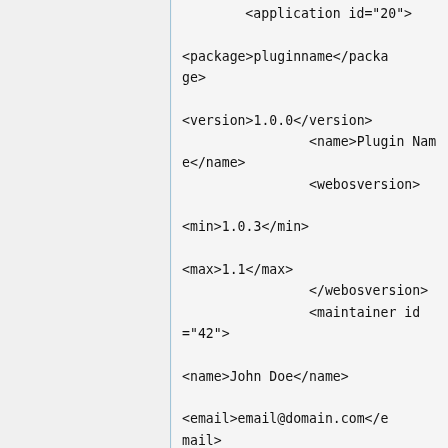<application id="20">

<package>pluginname</package>

<version>1.0.0</version>
                <name>Plugin Name</name>
                <webosversion>

<min>1.0.3</min>

<max>1.1</max>
                </webosversion>
                <maintainer id="42">
                                <name>John Doe</name>

<email>email@domain.com</email>
                </maintainer>

<architectureall></archite